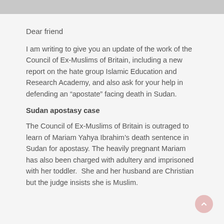Dear friend
I am writing to give you an update of the work of the Council of Ex-Muslims of Britain, including a new report on the hate group Islamic Education and Research Academy, and also ask for your help in defending an “apostate” facing death in Sudan.
Sudan apostasy case
The Council of Ex-Muslims of Britain is outraged to learn of Mariam Yahya Ibrahim’s death sentence in Sudan for apostasy. The heavily pregnant Mariam has also been charged with adultery and imprisoned with her toddler. She and her husband are Christian but the judge insists she is Muslim.